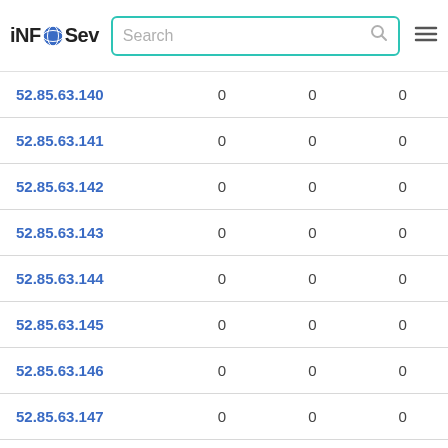iNFOSev — Search bar and navigation
| IP Address | Col1 | Col2 | Col3 |
| --- | --- | --- | --- |
| 52.85.63.140 | 0 | 0 | 0 |
| 52.85.63.141 | 0 | 0 | 0 |
| 52.85.63.142 | 0 | 0 | 0 |
| 52.85.63.143 | 0 | 0 | 0 |
| 52.85.63.144 | 0 | 0 | 0 |
| 52.85.63.145 | 0 | 0 | 0 |
| 52.85.63.146 | 0 | 0 | 0 |
| 52.85.63.147 | 0 | 0 | 0 |
| 52.85.63.148 | 0 | 0 | 0 |
| 52.85.63.149 | 0 | 0 | 0 |